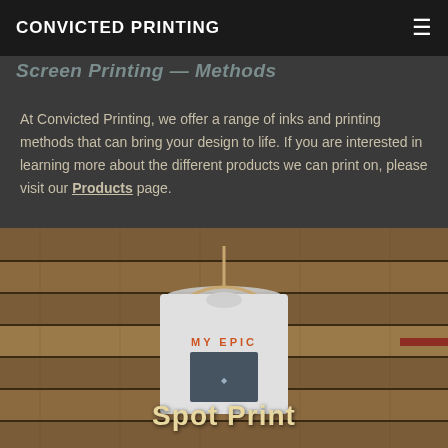CONVICTED PRINTING
Screen Printing — Methods
At Convicted Printing, we offer a range of inks and printing methods that can bring your design to life. If you are interested in learning more about the different products we can print on, please visit our Products page.
[Figure (photo): A white t-shirt on a wooden hanger displayed against a wooden pallet background. The shirt features a graphic print reading 'MY EPIC' in orange text and a dark graphic below. An overlay text reads 'Spot Print' in large bold gold/tan letters.]
Spot Print